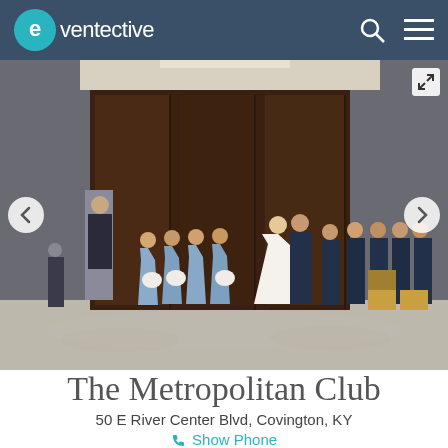eventective
[Figure (photo): Wedding ceremony photo showing a bride and groom kissing at the altar, surrounded by bridesmaids in light blue dresses and groomsmen in navy suits, inside an elegant venue room with dark wood panel doors and patterned carpet.]
The Metropolitan Club
50 E River Center Blvd, Covington, KY
Show Phone
www.metropolitanclub.net